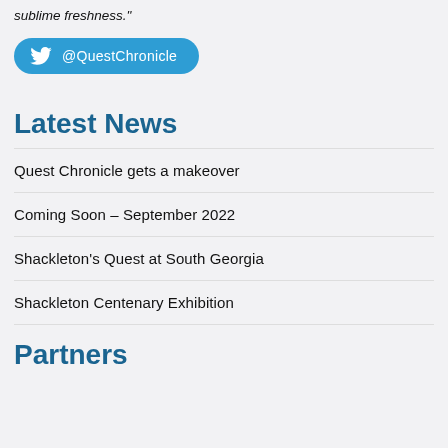sublime freshness."
[Figure (other): Twitter button with @QuestChronicle handle]
Latest News
Quest Chronicle gets a makeover
Coming Soon – September 2022
Shackleton's Quest at South Georgia
Shackleton Centenary Exhibition
Partners